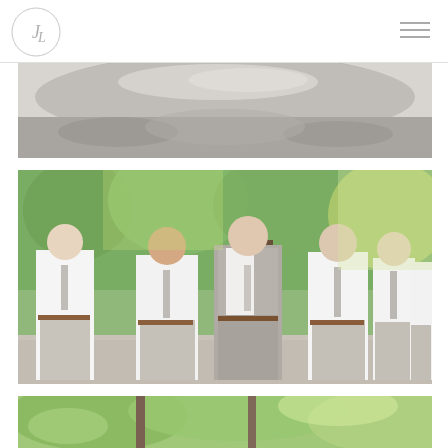JL logo and navigation header
[Figure (photo): Partial top photo showing gravel/mulch ground texture with some light and shadows, cropped at bottom of image — appears to be an outdoor landscape with trees above.]
[Figure (photo): Wedding party photo: groom in light gray suit with tie flanked by five groomsmen in white dress shirts, gray ties, and gray slacks with brown belts, all walking outdoors on a gravel path surrounded by green trees.]
[Figure (photo): Partial bottom photo showing lush green foliage and tree trunks in a bright outdoor setting, cropped near the top.]